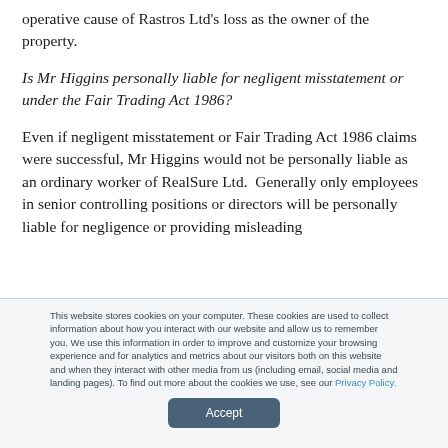operative cause of Rastros Ltd's loss as the owner of the property.
Is Mr Higgins personally liable for negligent misstatement or under the Fair Trading Act 1986?
Even if negligent misstatement or Fair Trading Act 1986 claims were successful, Mr Higgins would not be personally liable as an ordinary worker of RealSure Ltd.  Generally only employees in senior controlling positions or directors will be personally liable for negligence or providing misleading
This website stores cookies on your computer. These cookies are used to collect information about how you interact with our website and allow us to remember you. We use this information in order to improve and customize your browsing experience and for analytics and metrics about our visitors both on this website and when they interact with other media from us (including email, social media and landing pages). To find out more about the cookies we use, see our Privacy Policy.